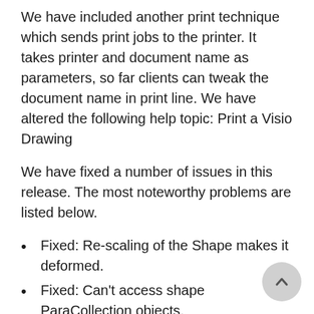We have included another print technique which sends print jobs to the printer. It takes printer and document name as parameters, so far clients can tweak the document name in print line. We have altered the following help topic: Print a Visio Drawing
We have fixed a number of issues in this release. The most noteworthy problems are listed below.
Fixed: Re-scaling of the Shape makes it deformed.
Fixed: Can't access shape ParaCollection objects.
Fixed: Shape is using single connection point instead of different connection points.